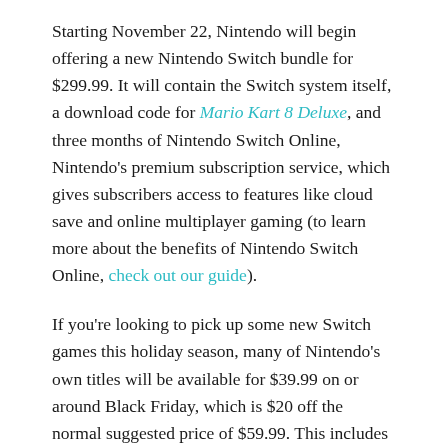Starting November 22, Nintendo will begin offering a new Nintendo Switch bundle for $299.99. It will contain the Switch system itself, a download code for Mario Kart 8 Deluxe, and three months of Nintendo Switch Online, Nintendo's premium subscription service, which gives subscribers access to features like cloud save and online multiplayer gaming (to learn more about the benefits of Nintendo Switch Online, check out our guide).
If you're looking to pick up some new Switch games this holiday season, many of Nintendo's own titles will be available for $39.99 on or around Black Friday, which is $20 off the normal suggested price of $59.99. This includes Super Mario Maker 2, Luigi's Mansion 3, The Legend of Zelda: Link's Awakening, Fire Emblem: Three Houses, Mario Tennis Aces, Yoshi's Crafted World, Splatoon 2, and New Super Mario Bros. U Deluxe.